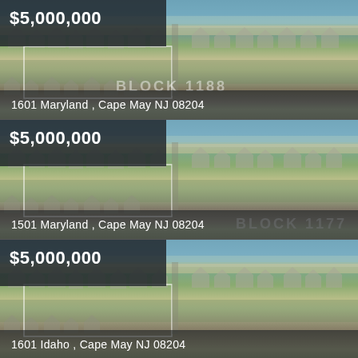[Figure (photo): Aerial photograph of Cape May NJ coastal neighborhood with beach houses and ocean in background, showing Block 1188]
$5,000,000
1601 Maryland , Cape May NJ 08204
[Figure (photo): Aerial photograph of Cape May NJ coastal neighborhood with beach houses and ocean in background, showing Block 1177]
$5,000,000
1501 Maryland , Cape May NJ 08204
[Figure (photo): Aerial photograph of Cape May NJ coastal neighborhood with beach houses and ocean in background]
$5,000,000
1601 Idaho , Cape May NJ 08204